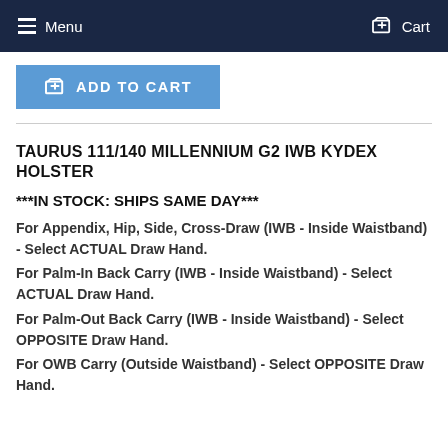Menu   Cart
ADD TO CART
TAURUS 111/140 MILLENNIUM G2 IWB KYDEX HOLSTER
***IN STOCK: SHIPS SAME DAY***
For Appendix, Hip, Side, Cross-Draw (IWB - Inside Waistband) - Select ACTUAL Draw Hand.
For Palm-In Back Carry (IWB - Inside Waistband) - Select ACTUAL Draw Hand.
For Palm-Out Back Carry (IWB - Inside Waistband) - Select OPPOSITE Draw Hand.
For OWB Carry (Outside Waistband) - Select OPPOSITE Draw Hand.